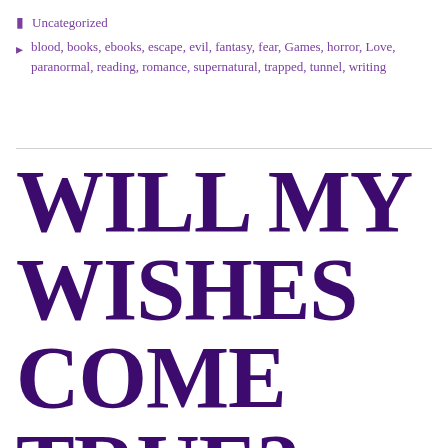Uncategorized
blood, books, ebooks, escape, evil, fantasy, fear, Games, horror, Love, paranormal, reading, romance, supernatural, trapped, tunnel, writing
WILL MY WISHES COME TRUE?